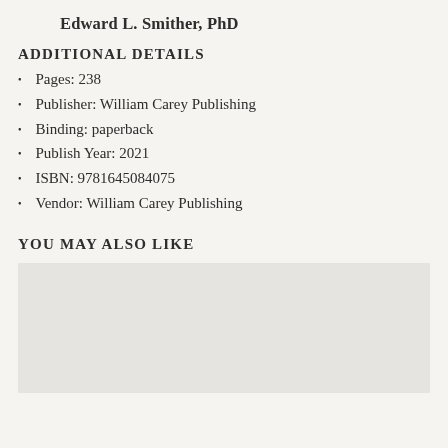Edward L. Smither, PhD
ADDITIONAL DETAILS
Pages: 238
Publisher: William Carey Publishing
Binding: paperback
Publish Year: 2021
ISBN: 9781645084075
Vendor: William Carey Publishing
YOU MAY ALSO LIKE
[Figure (other): Grey placeholder image box for recommended product]